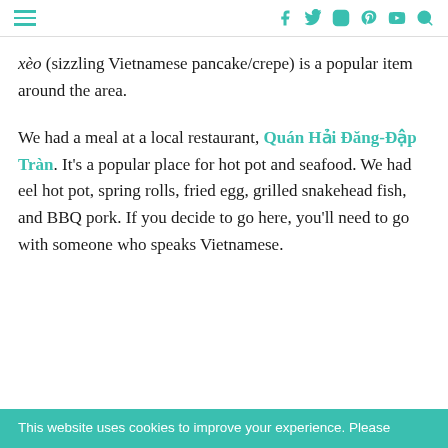≡  [social icons: facebook, twitter, instagram, pinterest, youtube, search]
xèo (sizzling Vietnamese pancake/crepe) is a popular item around the area.
We had a meal at a local restaurant, Quán Hải Đăng-Đập Tràn. It's a popular place for hot pot and seafood. We had eel hot pot, spring rolls, fried egg, grilled snakehead fish, and BBQ pork. If you decide to go here, you'll need to go with someone who speaks Vietnamese.
This website uses cookies to improve your experience. Please